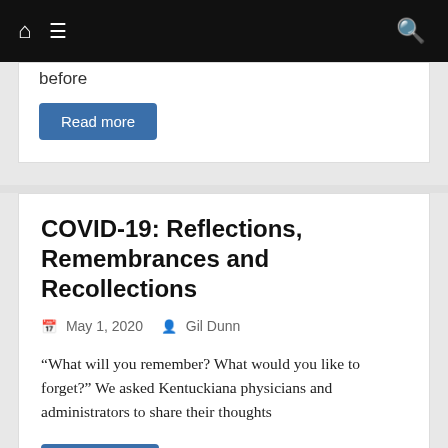Navigation bar with home, menu, and search icons
before
Read more
COVID-19: Reflections, Remembrances and Recollections
May 1, 2020   Gil Dunn
“What will you remember? What would you like to forget?” We asked Kentuckiana physicians and administrators to share their thoughts
Read more